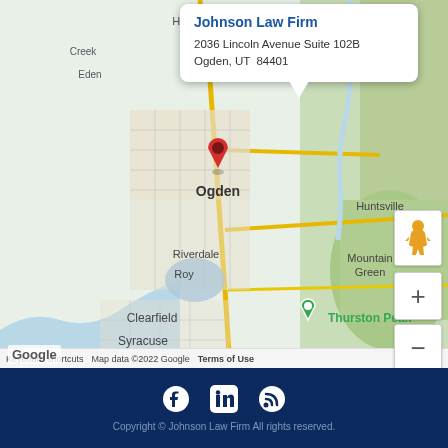[Figure (map): Google Maps screenshot showing Ogden, Utah area with a red location pin marking Johnson Law Firm at 2036 Lincoln Avenue Suite 102B, Ogden UT 84401. Visible city labels include Ogden, Riverdale, Roy, Clearfield, Syracuse, Layton, Kaysville, Mountain Green, Huntsville, Thurston Peak, and Farmington Bay.]
Johnson Law Firm
2036 Lincoln Avenue Suite 102B
Ogden, UT  84401
Copyright © Johnson Law Firm All rights reserved.